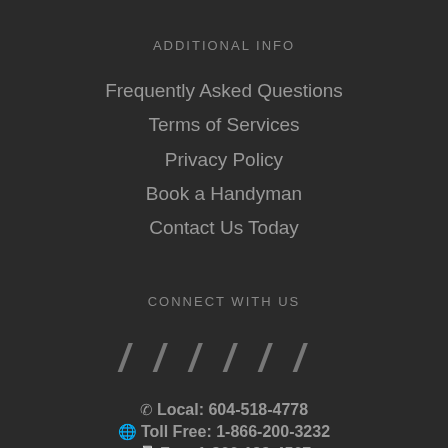ADDITIONAL INFO
Frequently Asked Questions
Terms of Services
Privacy Policy
Book a Handyman
Contact Us Today
CONNECT WITH US
[Figure (other): Six social media icons displayed as italic slash-like symbols in a row]
Local: 604-518-4778
Toll Free: 1-866-200-3232
Fax: 1-866-123-4567